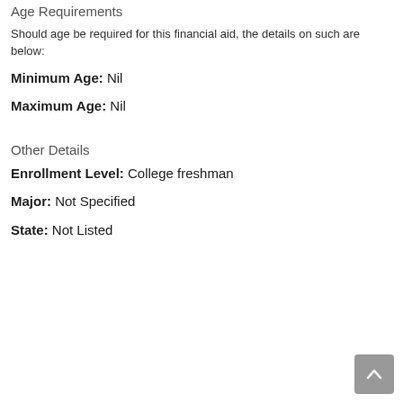Age Requirements
Should age be required for this financial aid, the details on such are below:
Minimum Age: Nil
Maximum Age: Nil
Other Details
Enrollment Level: College freshman
Major: Not Specified
State: Not Listed